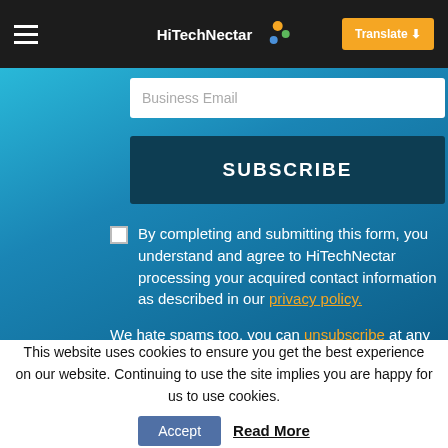HiTechNectar — Translate
[Figure (screenshot): Website subscription form on teal/blue gradient background with email input, SUBSCRIBE button, consent checkbox with privacy policy link, and spam notice with unsubscribe link]
Business Email
SUBSCRIBE
By completing and submitting this form, you understand and agree to HiTechNectar processing your acquired contact information as described in our privacy policy.
We hate spams too, you can unsubscribe at any time.
This website uses cookies to ensure you get the best experience on our website. Continuing to use the site implies you are happy for us to use cookies.